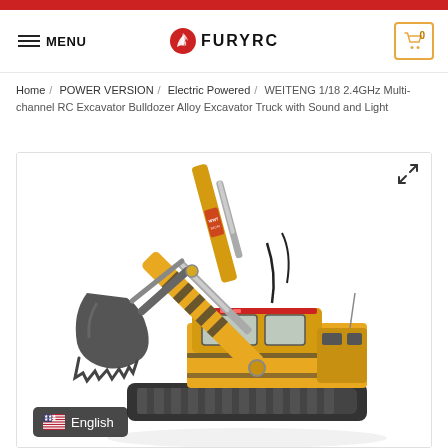FURYRC — navigation bar with menu, logo, and cart
Home / POWER VERSION / Electric Powered / WEITENG 1/18 2.4GHz Multi-channel RC Excavator Bulldozer Alloy Excavator Truck with Sound and Light
[Figure (photo): Yellow RC excavator bulldozer toy with black bucket attachment, yellow arm, and cab with red and black details. WWT-EXCAVATOR label visible on arm.]
English